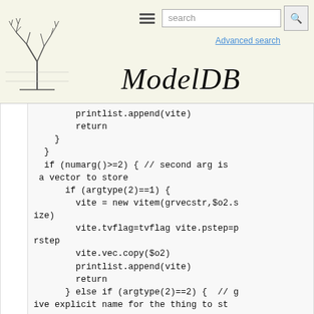ModelDB - Advanced search
[Figure (logo): ModelDB tree logo with stylized branching neuron/tree illustration]
ModelDB
printlist.append(vite)
        return
    }
  }
  if (numarg()>=2) { // second arg is a vector to store
      if (argtype(2)==1) {
        vite = new vitem(grvecstr,$o2.size)
        vite.tvflag=tvflag vite.pstep=prstep
        vite.vec.copy($o2)
        printlist.append(vite)
        return
      } else if (argtype(2)==2) {  // give explicit name for the thing to store
        nflag=1
      }
  }